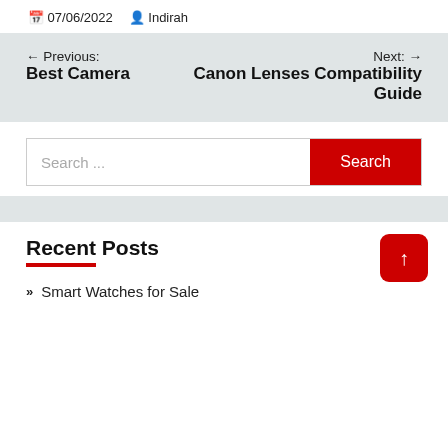07/06/2022  Indirah
← Previous: Best Camera
Next: → Canon Lenses Compatibility Guide
Search ...
Recent Posts
» Smart Watches for Sale